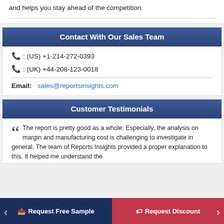and helps you stay ahead of the competition.
Contact With Our Sales Team
☎ : (US) +1-214-272-0393
☎ : (UK) +44-208-123-0018
Email: sales@reportsinsights.com
Customer Testimonials
The report is pretty good as a whole. Especially, the analysis on margin and manufacturing cost is challenging to investigate in general. The team of Reports Insights provided a proper explanation to this. It helped me understand the
Request Free Sample
Request Discount